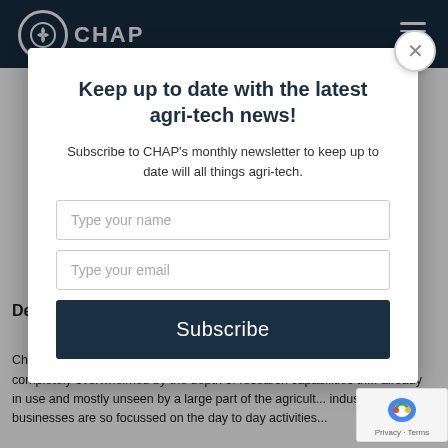CHAP
Keep up to date with the latest agri-tech news!
Subscribe to CHAP's monthly newsletter to keep up to date will all things agri-tech.
Type your name
Type your email
Subscribe
Development Manager
Chris Delf writes "Since joining CHAP on January 7th 2019, I ha... completely overwhelmed by the depth of research capabilities th... already in use and mostly unseen by a large part of the agricult... industry. Farm businesses are so focussed on the day to day activities...